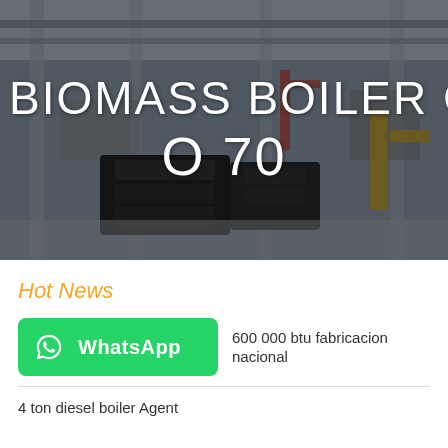[Figure (photo): Industrial boiler manufacturing facility interior with large equipment, overhead cranes, yellow scaffolding structures, and black boiler units on the factory floor. Dark overlay applied.]
BIOMASS BOILER CLHOS O 70
Hot News
[Figure (logo): WhatsApp green button with phone icon and white text 'WhatsApp']
600 000 btu fabricacion nacional
4 ton diesel boiler Agent